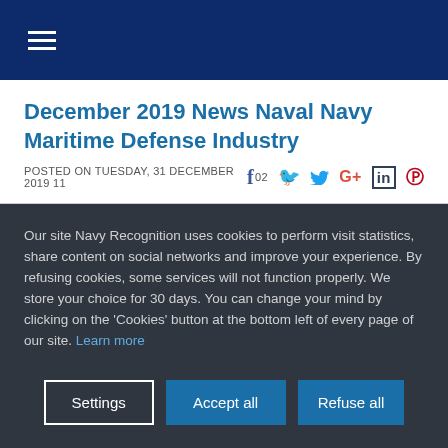≡ (hamburger menu)
December 2019 News Naval Navy Maritime Defense Industry
POSTED ON TUESDAY, 31 DECEMBER 2019 11:02
Our site Navy Recognition uses cookies to perform visit statistics, share content on social networks and improve your experience. By refusing cookies, some services will not function properly. We store your choice for 30 days. You can change your mind by clicking on the 'Cookies' button at the bottom left of every page of our site. Learn more
Settings | Accept all | Refuse all